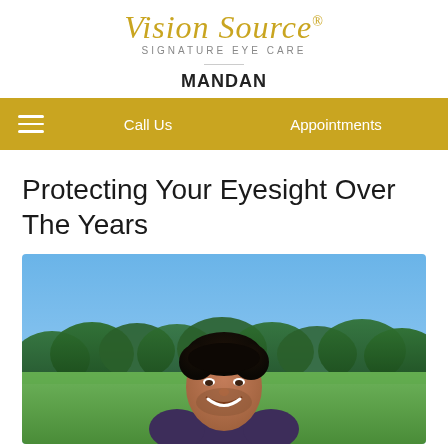Vision Source SIGNATURE EYE CARE MANDAN
Call Us   Appointments
Protecting Your Eyesight Over The Years
[Figure (photo): A smiling man with dark hair photographed outdoors against a blue sky with green trees and grass in the background.]